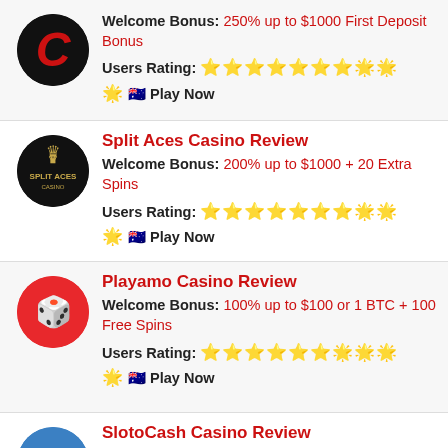Welcome Bonus: 250% up to $1000 First Deposit Bonus
Users Rating: ★★★★★★★☆☆☆ 🇦🇺 Play Now
Split Aces Casino Review
Welcome Bonus: 200% up to $1000 + 20 Extra Spins
Users Rating: ★★★★★★★☆☆☆ 🇦🇺 Play Now
Playamo Casino Review
Welcome Bonus: 100% up to $100 or 1 BTC + 100 Free Spins
Users Rating: ★★★★★★☆☆☆☆ 🇦🇺 Play Now
SlotoCash Casino Review
Welcome Bonus: 200% up to $1500 on 1st